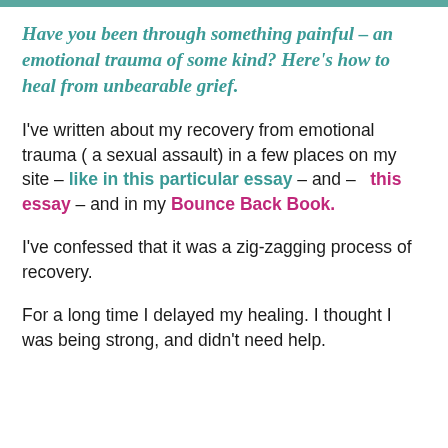Have you been through something painful – an emotional trauma of some kind? Here's how to heal from unbearable grief.
I've written about my recovery from emotional trauma ( a sexual assault) in a few places on my site – like in this particular essay – and – this essay – and in my Bounce Back Book.
I've confessed that it was a zig-zagging process of recovery.
For a long time I delayed my healing. I thought I was being strong, and didn't need help.